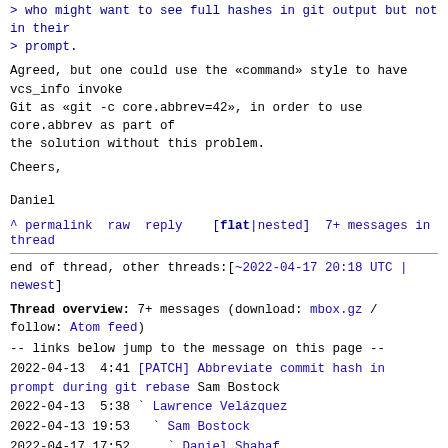> who might want to see full hashes in git output but not in their
> prompt.
Agreed, but one could use the «command» style to have vcs_info invoke
Git as «git -c core.abbrev=42», in order to use core.abbrev as part of
the solution without this problem.
Cheers,

Daniel
^ permalink raw reply   [flat|nested] 7+ messages in thread
end of thread, other threads:[~2022-04-17 20:18 UTC | newest]
Thread overview: 7+ messages (download: mbox.gz / follow: Atom feed)
-- links below jump to the message on this page --
2022-04-13  4:41 [PATCH] Abbreviate commit hash in prompt during git rebase Sam Bostock
2022-04-13  5:38 ` Lawrence Velázquez
2022-04-13 19:53   ` Sam Bostock
2022-04-17 17:52     ` Daniel Shahaf
2022-04-17 20:08       Lawrence Velázquez